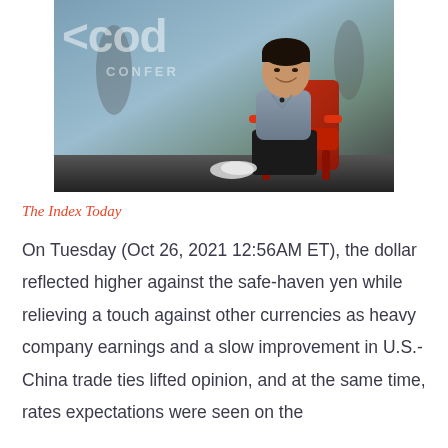[Figure (photo): A man smiling and sitting in a red chair on stage at a Code Conference event. He is wearing a gray shirt and dark pants. The conference backdrop is visible behind him.]
The Index Today
On Tuesday (Oct 26, 2021 12:56AM ET), the dollar reflected higher against the safe-haven yen while relieving a touch against other currencies as heavy company earnings and a slow improvement in U.S.-China trade ties lifted opinion, and at the same time, rates expectations were seen on the